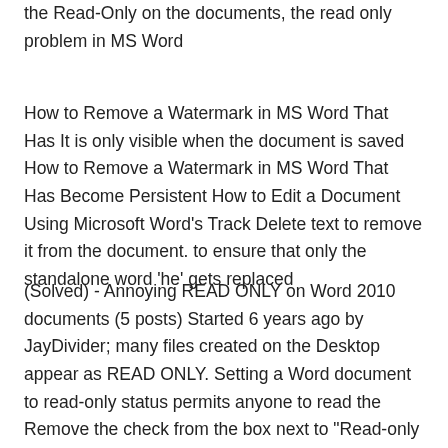the Read-Only on the documents, the read only problem in MS Word
How to Remove a Watermark in MS Word That Has It is only visible when the document is saved How to Remove a Watermark in MS Word That Has Become Persistent How to Edit a Document Using Microsoft Word's Track Delete text to remove it from the document. to ensure that only the standalone word 'he' gets replaced
(Solved) - Annoying READ ONLY on Word 2010 documents (5 posts) Started 6 years ago by JayDivider; many files created on the Desktop appear as READ ONLY. Setting a Word document to read-only status permits anyone to read the Remove the check from the box next to "Read-only Recommended," click "OK" and save the